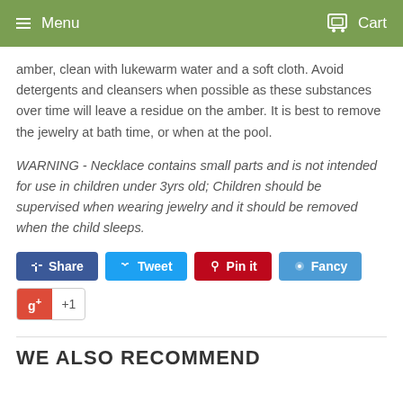Menu  Cart
amber, clean with lukewarm water and a soft cloth. Avoid detergents and cleansers when possible as these substances over time will leave a residue on the amber. It is best to remove the jewelry at bath time, or when at the pool.
WARNING - Necklace contains small parts and is not intended for use in children under 3yrs old; Children should be supervised when wearing jewelry and it should be removed when the child sleeps.
Share  Tweet  Pin it  Fancy  +1
WE ALSO RECOMMEND